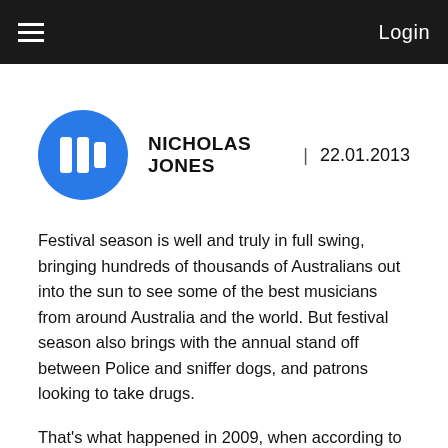≡   Login
NICHOLAS JONES | 22.01.2013
Festival season is well and truly in full swing, bringing hundreds of thousands of Australians out into the sun to see some of the best musicians from around Australia and the world. But festival season also brings with the annual stand off between Police and sniffer dogs, and patrons looking to take drugs.
That's what happened in 2009, when according to The Age, Kalamunda teenager Gemma Thoms swallowed three ecstasy tablets before entering the Big Day Out